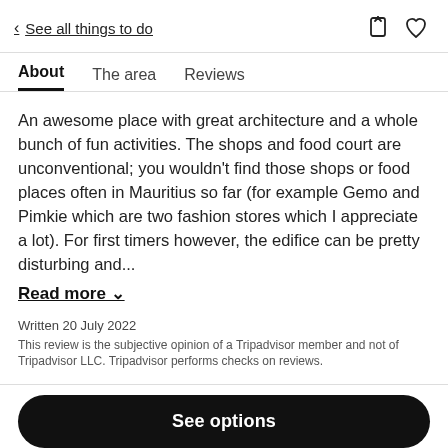< See all things to do
About   The area   Reviews
An awesome place with great architecture and a whole bunch of fun activities. The shops and food court are unconventional; you wouldn't find those shops or food places often in Mauritius so far (for example Gemo and Pimkie which are two fashion stores which I appreciate a lot). For first timers however, the edifice can be pretty disturbing and...
Read more ∨
Written 20 July 2022
This review is the subjective opinion of a Tripadvisor member and not of Tripadvisor LLC. Tripadvisor performs checks on reviews.
See options